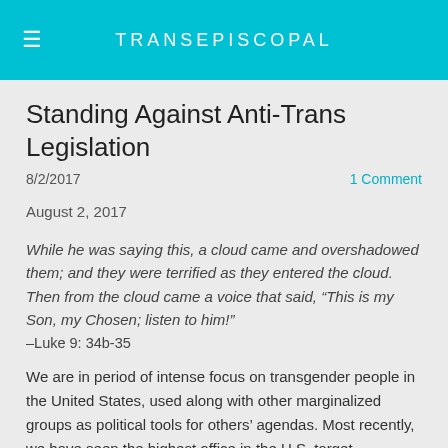TRANSEPISCOPAL
Standing Against Anti-Trans Legislation
8/2/2017   1 Comment
August 2, 2017
While he was saying this, a cloud came and overshadowed them; and they were terrified as they entered the cloud. Then from the cloud came a voice that said, “This is my Son, my Chosen; listen to him!”
–Luke 9: 34b-35
We are in period of intense focus on transgender people in the United States, used along with other marginalized groups as political tools for others’ agendas. Most recently, we have seen the highest office in the U.S. target transgender military personnel. As we write, legislation that would undermine the